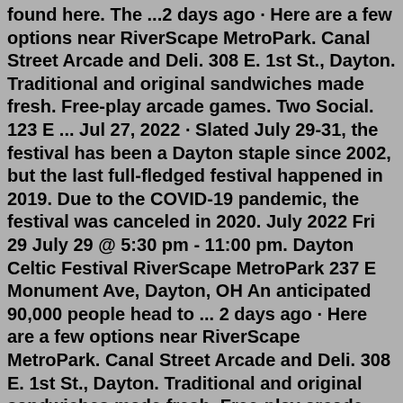found here. The ...2 days ago · Here are a few options near RiverScape MetroPark. Canal Street Arcade and Deli. 308 E. 1st St., Dayton. Traditional and original sandwiches made fresh. Free-play arcade games. Two Social. 123 E ... Jul 27, 2022 · Slated July 29-31, the festival has been a Dayton staple since 2002, but the last full-fledged festival happened in 2019. Due to the COVID-19 pandemic, the festival was canceled in 2020. July 2022 Fri 29 July 29 @ 5:30 pm - 11:00 pm. Dayton Celtic Festival RiverScape MetroPark 237 E Monument Ave, Dayton, OH An anticipated 90,000 people head to ... 2 days ago · Here are a few options near RiverScape MetroPark. Canal Street Arcade and Deli. 308 E. 1st St., Dayton. Traditional and original sandwiches made fresh. Free-play arcade games. Two Social. 123 E ... Jul 11, 2022 · The 35th Annual Celtic Classic is presented by Celtic Cultural Alliance, a 501(c)(3) non-profit organization dedicated to preserving and promoting the Celtic heritage through education, musical presentations, and traditional competitions in athletics, piping and dance. The Celtic